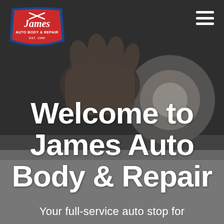[Figure (photo): Dark background photo of a person's hand gripping a polishing/buffing tool on a car surface, used as hero image header]
[Figure (logo): James Auto Body & Repair logo: red shield/badge shape with 'James' in script font, crossed wrenches icon, 'AUTO BODY & REPAIR' and 'EST. 1989' text, blue border]
Welcome to James Auto Body & Repair
Your full-service auto stop for